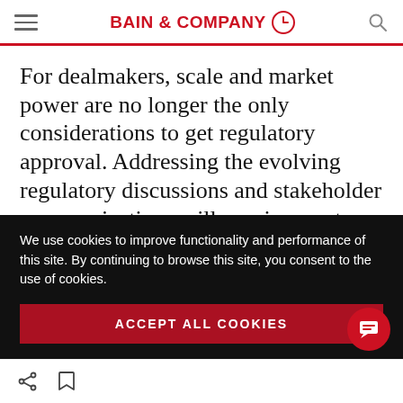BAIN & COMPANY
For dealmakers, scale and market power are no longer the only considerations to get regulatory approval. Addressing the evolving regulatory discussions and stakeholder communications will require greater thought and preparation, but doing so can pay off by reducing the friction and
We use cookies to improve functionality and performance of this site. By continuing to browse this site, you consent to the use of cookies.
ACCEPT ALL COOKIES